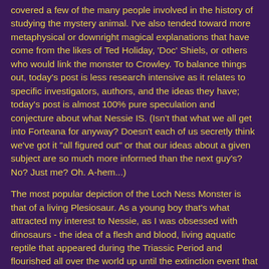covered a few of the many people involved in the history of studying the mystery animal. I've also tended toward more metaphysical or downright magical explanations that have come from the likes of Ted Holiday, 'Doc' Shiels, or others who would link the monster to Crowley. To balance things out, today's post is less research intensive as it relates to specific investigators, authors, and the ideas they have; today's post is almost 100% pure speculation and conjecture about what Nessie IS. (Isn't that what we all get into Forteana for anyway? Doesn't each of us secretly think we've got it "all figured out" or that our ideas about a given subject are so much more informed than the next guy's? No? Just me? Oh. A-hem...)
The most popular depiction of the Loch Ness Monster is that of a living Plesiosaur. As a young boy that's what attracted my interest to Nessie, as I was obsessed with dinosaurs - the idea of a flesh and blood, living aquatic reptile that appeared during the Triassic Period and flourished all over the world up until the extinction event that eradicated the dinosaurs. The 'living dinosaur' theory is a very nice one, but it raises serious questions. For one thing, such a creature